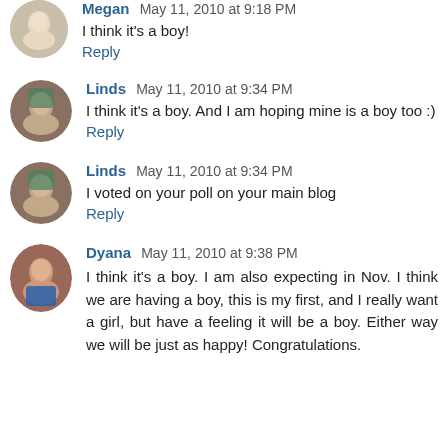Megan May 11, 2010 at 9:18 PM
I think it's a boy!
Reply
Linds May 11, 2010 at 9:34 PM
I think it's a boy. And I am hoping mine is a boy too :)
Reply
Linds May 11, 2010 at 9:34 PM
I voted on your poll on your main blog
Reply
Dyana May 11, 2010 at 9:38 PM
I think it's a boy. I am also expecting in Nov. I think we are having a boy, this is my first, and I really want a girl, but have a feeling it will be a boy. Either way we will be just as happy! Congratulations.